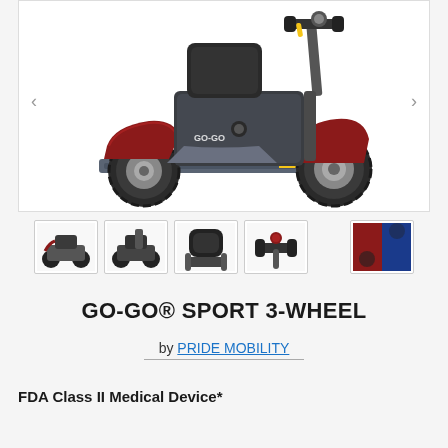[Figure (photo): Side view of red and gray GO-GO Sport 3-wheel mobility scooter on white background. Scooter faces right, showing basket/battery compartment, seat, footrest platform, and three wheels with knobby tires.]
[Figure (photo): Thumbnail row showing 5 product images: full scooter view, alternate scooter view, seat close-up, handlebar/tiller view, and color swatch thumbnails (red and blue).]
GO-GO® SPORT 3-WHEEL
by PRIDE MOBILITY
FDA Class II Medical Device*